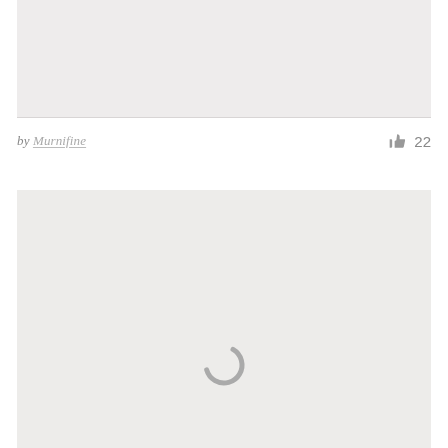[Figure (photo): Top image placeholder block with light gray background]
by Murnifine  👍 22
[Figure (photo): Bottom image placeholder block with light gray background and a loading spinner icon in the lower center]